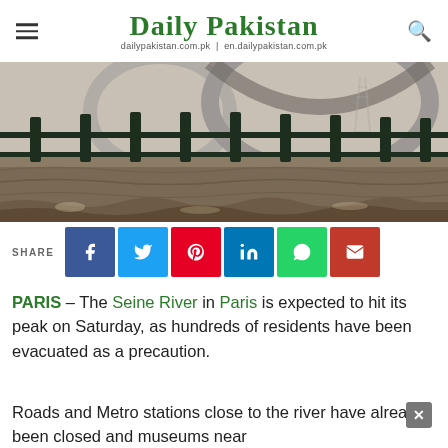Daily Pakistan — dailypakistan.com.pk | en.dailypakistan.com.pk
[Figure (photo): Flooded Seine River in Paris with a bridge in the background and metal fence railings in the foreground surrounded by rushing brown water]
SHARE [Facebook] [Twitter] [Pinterest] [LinkedIn] [WhatsApp] [Email]
PARIS – The Seine River in Paris is expected to hit its peak on Saturday, as hundreds of residents have been evacuated as a precaution.
Roads and Metro stations close to the river have already been closed and museums near